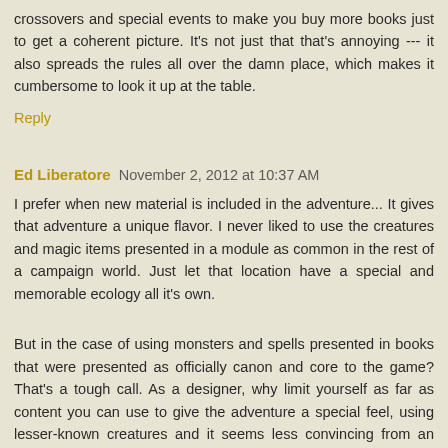crossovers and special events to make you buy more books just to get a coherent picture. It's not just that that's annoying --- it also spreads the rules all over the damn place, which makes it cumbersome to look it up at the table.
Reply
Ed Liberatore November 2, 2012 at 10:37 AM
I prefer when new material is included in the adventure... It gives that adventure a unique flavor. I never liked to use the creatures and magic items presented in a module as common in the rest of a campaign world. Just let that location have a special and memorable ecology all it's own.
But in the case of using monsters and spells presented in books that were presented as officially canon and core to the game? That's a tough call. As a designer, why limit yourself as far as content you can use to give the adventure a special feel, using lesser-known creatures and it seems less convincing from an author's feel of official